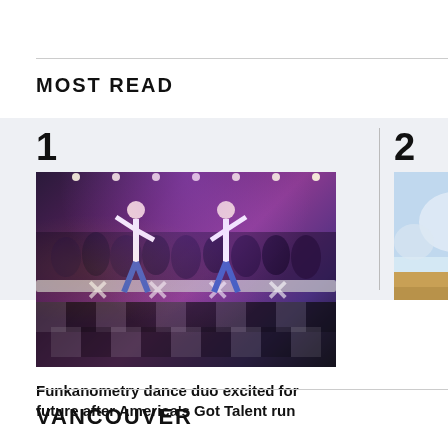MOST READ
1 — Funkanometry dance duo excited for future after America's Got Talent run
[Figure (photo): Two dancers performing on stage with hands raised at America's Got Talent, dramatic stage lighting and audience in background]
2 — B.C. r... solo c...
[Figure (photo): Outdoor landscape photo, partially visible, showing sky and ground]
VANCOUVER